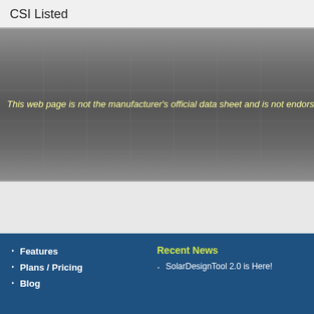CSI Listed
[Figure (other): Dark grey metallic banner with grid lines overlay and italic yellow disclaimer text reading: This web page is not the manufacturer's official data sheet and is not endorsed by the man...]
Features
Plans / Pricing
Blog
Recent News
SolarDesignTool 2.0 is Here!